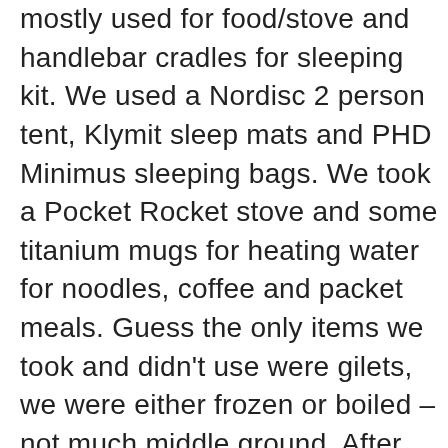mostly used for food/stove and handlebar cradles for sleeping kit. We used a Nordisc 2 person tent, Klymit sleep mats and PHD Minimus sleeping bags. We took a Pocket Rocket stove and some titanium mugs for heating water for noodles, coffee and packet meals. Guess the only items we took and didn't use were gilets, we were either frozen or boiled – not much middle ground. After much paranoia before we left we never touched the stack of brake pads we lugged around either.
So, finished up in 14 days and a bit. Took far too many photo's (Ricoh GRii if you need to know – lightweight and did the job), lost some weight and generally suffered a bit but had a fab old